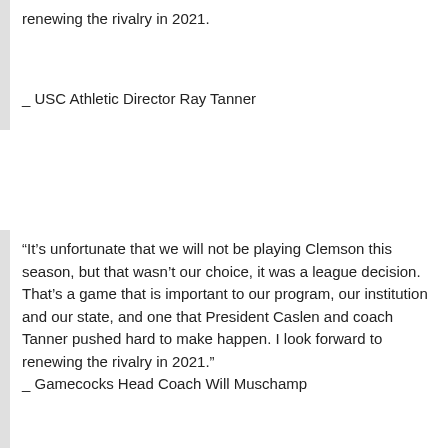renewing the rivalry in 2021.
_ USC Athletic Director Ray Tanner
“It’s unfortunate that we will not be playing Clemson this season, but that wasn’t our choice, it was a league decision. That’s a game that is important to our program, our institution and our state, and one that President Caslen and coach Tanner pushed hard to make happen. I look forward to renewing the rivalry in 2021.”
_ Gamecocks Head Coach Will Muschamp